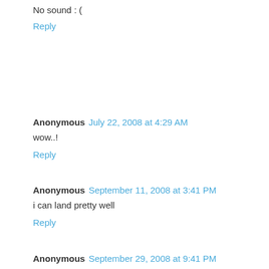No sound : (
Reply
Anonymous  July 22, 2008 at 4:29 AM
wow..!
Reply
Anonymous  September 11, 2008 at 3:41 PM
i can land pretty well
Reply
Anonymous  September 29, 2008 at 9:41 PM
I discovered this two years ago but one problem...
how do you turn this off as I've been flying all this time and I really got to pee bad!